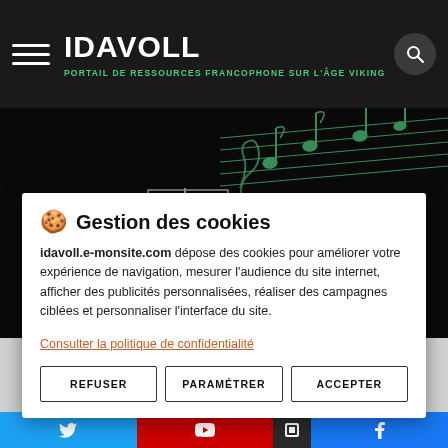IDAVOLL — PORTAIL DE RESSOURCES FRANCOPHONE SUR L'ÂGE VIKING
[Figure (illustration): Dark background with decorative Viking ship illustration in white/silver and green musical notes motif]
🍪 Gestion des cookies
idavoll.e-monsite.com dépose des cookies pour améliorer votre expérience de navigation, mesurer l'audience du site internet, afficher des publicités personnalisées, réaliser des campagnes ciblées et personnaliser l'interface du site.
Consulter la politique de confidentialité
REFUSER   PARAMÉTRER   ACCEPTER